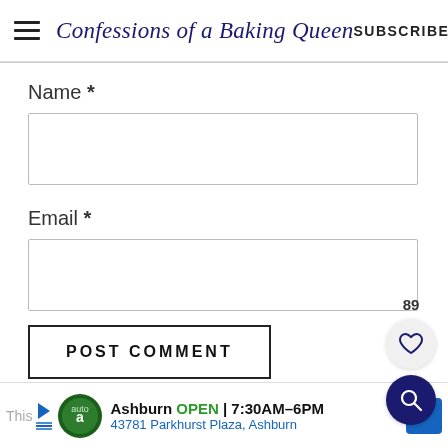Confessions of a Baking Queen   SUBSCRIBE
Name *
Email *
POST COMMENT
89
This   Ashburn  OPEN  7:30AM–6PM  43781 Parkhurst Plaza, Ashburn